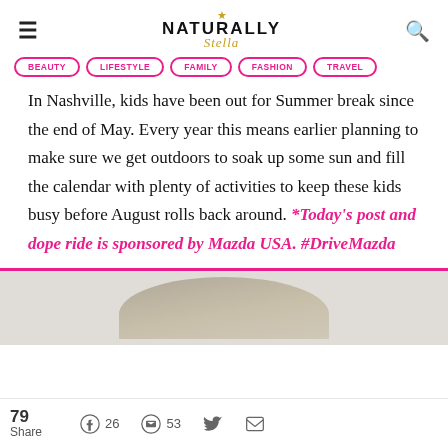NATURALLY Stella
In Nashville, kids have been out for Summer break since the end of May. Every year this means earlier planning to make sure we get outdoors to soak up some sun and fill the calendar with plenty of activities to keep these kids busy before August rolls back around. *Today's post and dope ride is sponsored by Mazda USA. #DriveMazda
[Figure (photo): Partial view of a photo showing the top of a person's head, light-colored hair, against a grey background with a pink bottom border strip.]
79 Share  26  53